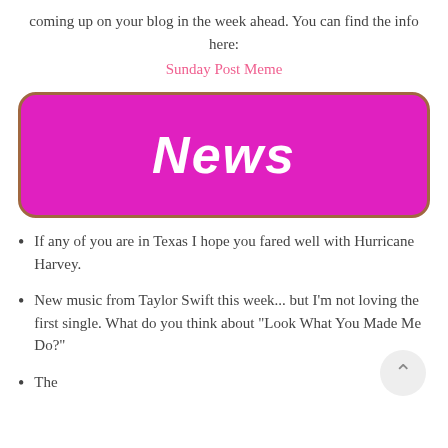coming up on your blog in the week ahead. You can find the info here:
Sunday Post Meme
[Figure (other): Magenta/pink rounded rectangle banner with white bold italic text reading 'News']
If any of you are in Texas I hope you fared well with Hurricane Harvey.
New music from Taylor Swift this week... but I'm not loving the first single. What do you think about "Look What You Made Me Do?"
The third item is partially visible at the bottom of the page.